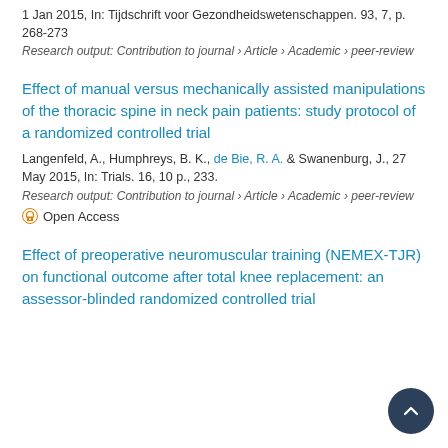1 Jan 2015, In: Tijdschrift voor Gezondheidswetenschappen. 93, 7, p. 268-273
Research output: Contribution to journal › Article › Academic › peer-review
Effect of manual versus mechanically assisted manipulations of the thoracic spine in neck pain patients: study protocol of a randomized controlled trial
Langenfeld, A., Humphreys, B. K., de Bie, R. A. & Swanenburg, J., 27 May 2015, In: Trials. 16, 10 p., 233.
Research output: Contribution to journal › Article › Academic › peer-review
Open Access
Effect of preoperative neuromuscular training (NEMEX-TJR) on functional outcome after total knee replacement: an assessor-blinded randomized controlled trial